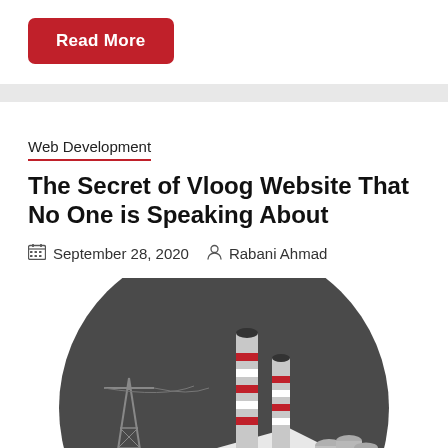Read More
Web Development
The Secret of Vloog Website That No One is Speaking About
September 28, 2020  Rabani Ahmad
[Figure (illustration): Isometric illustration of an industrial power plant with two tall chimneys featuring red and white stripes, a gray building structure with cylindrical tanks, and an electrical transmission tower on the left, all within a dark circular background.]